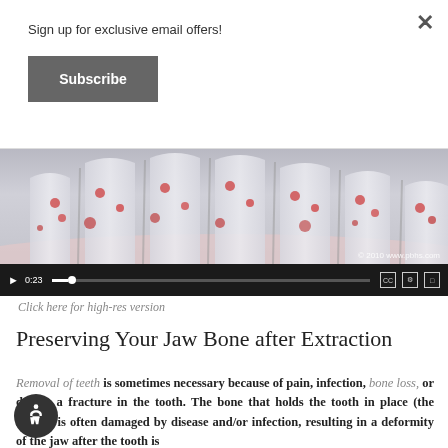Sign up for exclusive email offers!
Subscribe
[Figure (screenshot): Video player showing dental/tooth anatomy animation with teeth roots visible, copyright 2010 www.pbhs.com, with playback controls showing 0:23 timestamp]
Click here for high-res version
Preserving Your Jaw Bone after Extraction
Removal of teeth is sometimes necessary because of pain, infection, bone loss, or due to a fracture in the tooth. The bone that holds the tooth in place (the socket) is often damaged by disease and/or infection, resulting in a deformity of the jaw after the tooth is